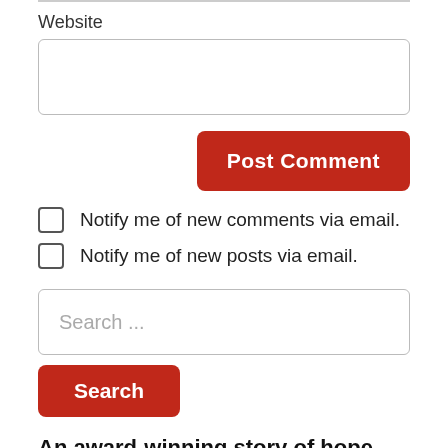Website
[Figure (other): Website input text field (empty)]
[Figure (other): Post Comment button (red)]
Notify me of new comments via email.
Notify me of new posts via email.
[Figure (other): Search input field with placeholder text 'Search ...']
[Figure (other): Search button (red)]
An award-winning story of hope,